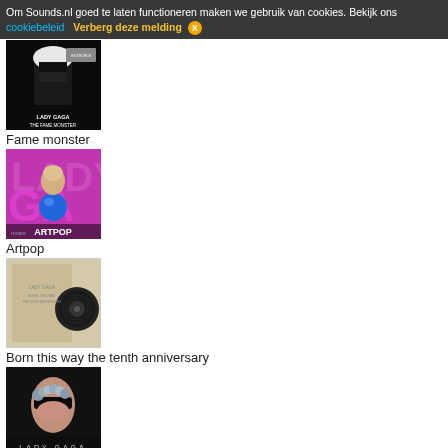Om Sounds.nl goed te laten functioneren maken we gebruik van cookies. Bekijk ons cookiebeleid  Verberg deze melding  X
[Figure (photo): Lady Gaga - The Fame Monster album cover: black and white image of Lady Gaga with white hair and mask]
Fame monster
[Figure (photo): Lady Gaga - Artpop album cover: colorful image with Lady Gaga holding a blue sphere, pink letters GAGA in background, ARTPOP text at bottom]
Artpop
[Figure (photo): Lady Gaga - Born This Way The Tenth Anniversary album cover: beige/kraft paper cover with vinyl record showing]
Born this way the tenth anniversary
[Figure (photo): Lady Gaga - Fame album cover: dark image of Lady Gaga with sunglasses and flowers, LADY GAGA text at bottom]
Fame
[Figure (photo): Partially visible album cover at bottom of page, gray tones]